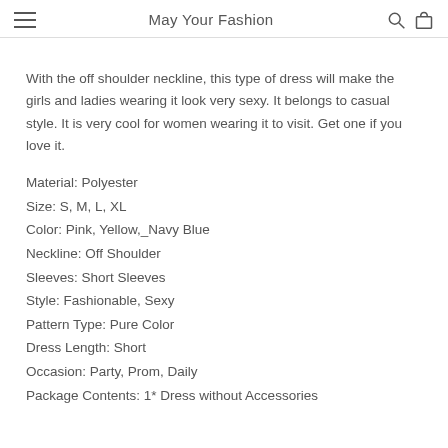May Your Fashion
With the off shoulder neckline, this type of dress will make the girls and ladies wearing it look very sexy. It belongs to casual style. It is very cool for women wearing it to visit. Get one if you love it.
Material: Polyester
Size: S, M, L, XL
Color: Pink, Yellow,_Navy Blue
Neckline: Off Shoulder
Sleeves: Short Sleeves
Style: Fashionable, Sexy
Pattern Type: Pure Color
Dress Length: Short
Occasion: Party, Prom, Daily
Package Contents: 1* Dress without Accessories